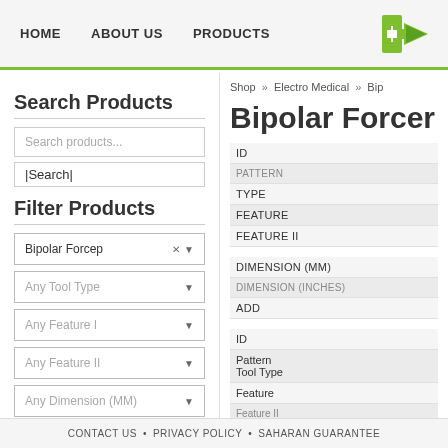HOME   ABOUT US   PRODUCTS
Shop » Electro Medical » Bip
Bipolar Forcep
Search Products
Search products...
Search
Filter Products
Bipolar Forcep
Any Tool Type
Any Feature I
Any Feature II
Any Dimension (MM)
Product Categories
ANAESTHETIC
| Field | Value |
| --- | --- |
| ID |  |
| PATTERN |  |
| TYPE |  |
| FEATURE |  |
| FEATURE II |  |
| DIMENSION (MM) |  |
| DIMENSION (INCHES) |  |
| ADD |  |
| Field | Value |
| --- | --- |
| ID |  |
| Pattern Tool Type |  |
| Feature |  |
| Feature II |  |
CONTACT US • PRIVACY POLICY • SAHARAN GUARANTEE